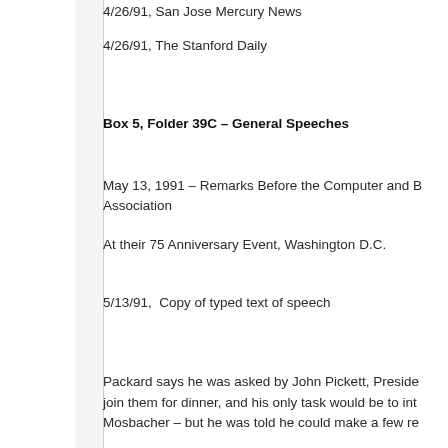4/26/91, San Jose Mercury News
4/26/91, The Stanford Daily
Box 5, Folder 39C – General Speeches
May 13, 1991 – Remarks Before the Computer and B
Association
At their 75 Anniversary Event, Washington D.C.
5/13/91,  Copy of typed text of speech
Packard says he was asked by John Pickett, Preside
join them for dinner, and his only task would be to int
Mosbacher – but he was told he could make a few re